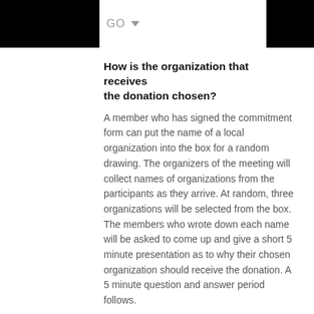GO
How is the organization that receives the donation chosen?
A member who has signed the commitment form can put the name of a local organization into the box for a random drawing. The organizers of the meeting will collect names of organizations from the participants as they arrive. At random, three organizations will be selected from the box. The members who wrote down each name will be asked to come up and give a short 5 minute presentation as to why their chosen organization should receive the donation. A 5 minute question and answer period follows.
What is a 501(c)3?